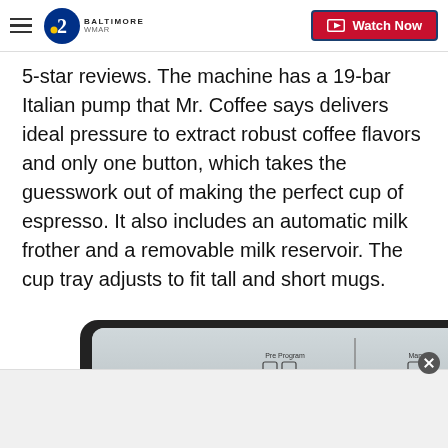2 BALTIMORE | Watch Now
5-star reviews. The machine has a 19-bar Italian pump that Mr. Coffee says delivers ideal pressure to extract robust coffee flavors and only one button, which takes the guesswork out of making the perfect cup of espresso. It also includes an automatic milk frother and a removable milk reservoir. The cup tray adjusts to fit tall and short mugs.
[Figure (photo): Close-up of a Mr. Coffee espresso machine control panel showing Pre-Program and Manual buttons, Espresso buttons, and various icons on a stainless steel front panel.]